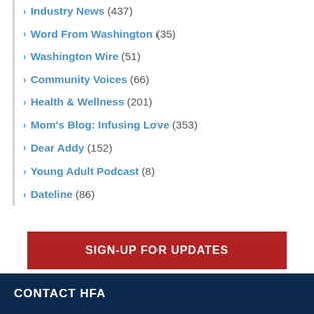Industry News (437)
Word From Washington (35)
Washington Wire (51)
Community Voices (66)
Health & Wellness (201)
Mom's Blog: Infusing Love (353)
Dear Addy (152)
Young Adult Podcast (8)
Dateline (86)
SIGN-UP FOR UPDATES
Sign up for E-mails, Dateline Magazine, and other ways to stay connected.
CONTACT HFA